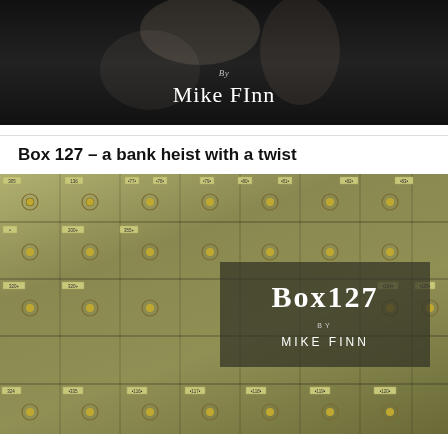[Figure (photo): Black and white photo with text overlay showing 'By Mike FInn' in white text on dark background]
Box 127 – a bank heist with a twist
[Figure (photo): Photo of bank safe deposit boxes (gold/olive toned) with overlay showing 'Box 127 by Mike Finn' in a semi-transparent dark box. Box numbers visible include 79, 80, 81, 82, 77, 78, 103, 104, 105, 116, 117, 118, 119, 120.]